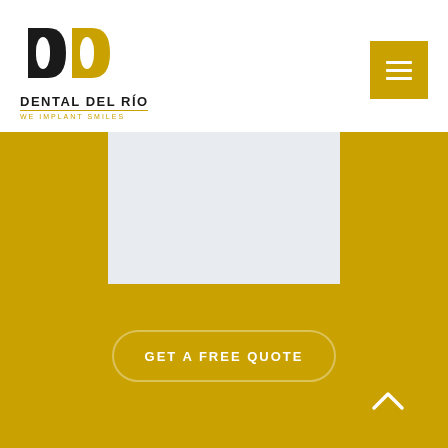[Figure (logo): Dental Del Río logo with stylized DD letters in black and gold, company name 'DENTAL DEL RÍO' and slogan 'WE IMPLANT SMILES']
[Figure (other): Gold hamburger menu button in top right corner with three white horizontal lines]
[Figure (other): Light gray rectangular box centered in the gold lower section of the page]
GET A FREE QUOTE
[Figure (other): White chevron/caret pointing upward on the gold background]